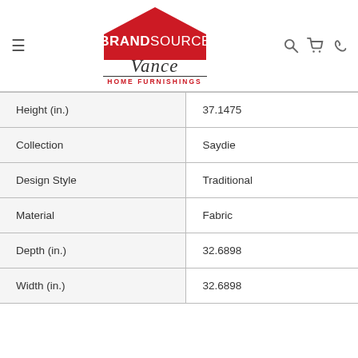[Figure (logo): BrandSource Vance Home Furnishings logo with house icon, navigation hamburger menu, search, cart, and phone icons]
| Attribute | Value |
| --- | --- |
| Height (in.) | 37.1475 |
| Collection | Saydie |
| Design Style | Traditional |
| Material | Fabric |
| Depth (in.) | 32.6898 |
| Width (in.) | 32.6898 |